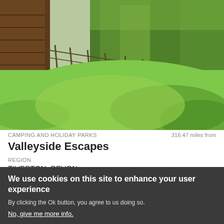[Figure (photo): Outdoor countryside scene showing a green grassy field with a wooden structure/cabin on the left side and lush green trees/hedgerows in the background. Fencing visible in the middle distance. Natural daylight, overcast sky.]
CAMPING AND HOLIDAY PARKS   316.47 miles from
Valleyside Escapes
REGION
TIVERTON, DEVON
VERIFIED   COVID CONFIDENT
We use cookies on this site to enhance your user experience
By clicking the Ok button, you agree to us doing so.
No, give me more info.